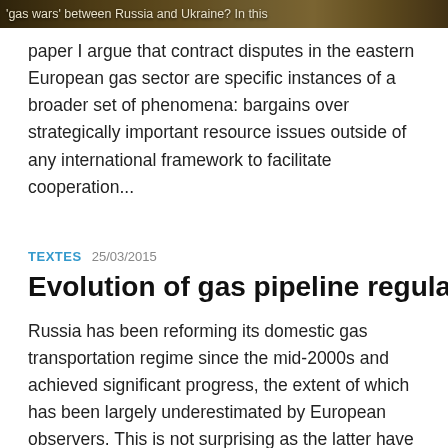[Figure (photo): Partial image at top of page showing an outdoor or landscape scene, partially visible]
'gas wars' between Russia and Ukraine? In this paper I argue that contract disputes in the eastern European gas sector are specific instances of a broader set of phenomena: bargains over strategically important resource issues outside of any international framework to facilitate cooperation...
TEXTES 25/03/2015
Evolution of gas pipeline regulation in Russia
Russia has been reforming its domestic gas transportation regime since the mid-2000s and achieved significant progress, the extent of which has been largely underestimated by European observers. This is not surprising as the latter have traditionally viewed the lack of ownership unbundling and the existence of Gazprom's pipeline export monopoly as the sole criteria for measuring the reform's success...